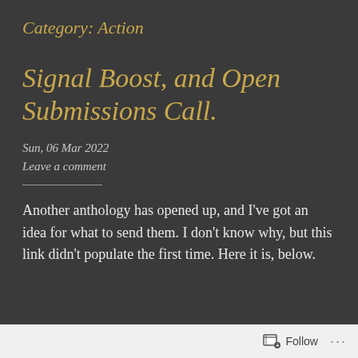Category: Action
Signal Boost, and Open Submissions Call.
Sun, 06 Mar 2022
Leave a comment
Another anthology has opened up, and I've got an idea for what to send them. I don't know why, but this link didn't populate the first time. Here it is, below.
Follow